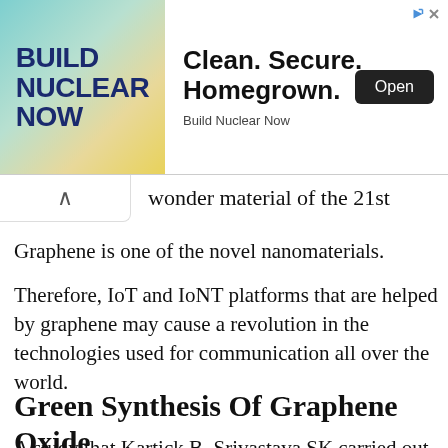[Figure (screenshot): Advertisement banner for 'Build Nuclear Now' with teal/yellow background on left side and text 'Clean. Secure. Homegrown.' with an Open button on right side.]
wonder material of the 21st century.
Graphene is one of the novel nanomaterials.
Therefore, IoT and IoNT platforms that are helped by graphene may cause a revolution in the technologies used for communication all over the world.
Green Synthesis Of Graphene Oxide
A study that Kartick B, Srivastava SK carried out, and Srivastava I. published in the Journal Nanosci Nanotechnol in June 2013 reports a green route to the synthesis of graphene by reducing graphite oxide with Cocos nucifera L. (coconut water) as a reducing agent